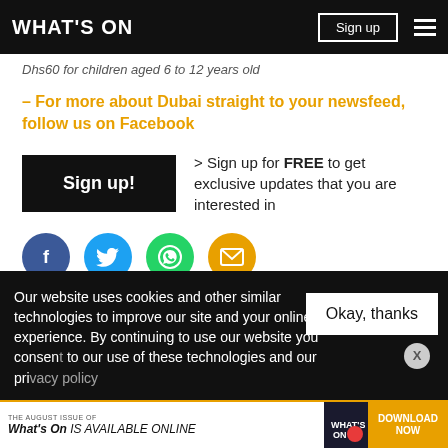WHAT'S ON | Sign up
Dhs60 for children aged 6 to 12 years old
– For more about Dubai straight to your newsfeed, follow us on Facebook
> Sign up for FREE to get exclusive updates that you are interested in
[Figure (infographic): Social share icons: Facebook (blue circle), Twitter (light blue circle), WhatsApp (green circle), Email (orange circle)]
[Figure (infographic): Three orange tag/category buttons partially visible at the bottom of the content area]
Our website uses cookies and other similar technologies to improve our site and your online experience. By continuing to use our website you consent to our use of these technologies and our privacy policy
[Figure (infographic): Advertisement banner: THE AUGUST ISSUE OF What's On IS AVAILABLE ONLINE | What's On logo | DOWNLOAD NOW]